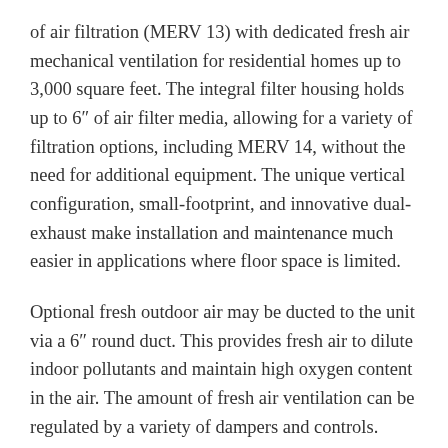of air filtration (MERV 13) with dedicated fresh air mechanical ventilation for residential homes up to 3,000 square feet. The integral filter housing holds up to 6″ of air filter media, allowing for a variety of filtration options, including MERV 14, without the need for additional equipment. The unique vertical configuration, small-footprint, and innovative dual-exhaust make installation and maintenance much easier in applications where floor space is limited.
Optional fresh outdoor air may be ducted to the unit via a 6″ round duct. This provides fresh air to dilute indoor pollutants and maintain high oxygen content in the air. The amount of fresh air ventilation can be regulated by a variety of dampers and controls.
The Ultra-Air 100V includes basic filtration to...